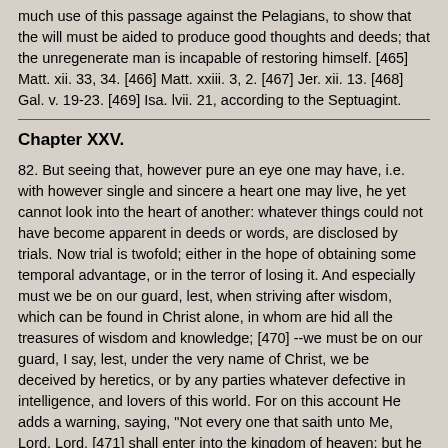much use of this passage against the Pelagians, to show that the will must be aided to produce good thoughts and deeds; that the unregenerate man is incapable of restoring himself. [465] Matt. xii. 33, 34. [466] Matt. xxiii. 3, 2. [467] Jer. xii. 13. [468] Gal. v. 19-23. [469] Isa. lvii. 21, according to the Septuagint.
Chapter XXV.
82. But seeing that, however pure an eye one may have, i.e. with however single and sincere a heart one may live, he yet cannot look into the heart of another: whatever things could not have become apparent in deeds or words, are disclosed by trials. Now trial is twofold; either in the hope of obtaining some temporal advantage, or in the terror of losing it. And especially must we be on our guard, lest, when striving after wisdom, which can be found in Christ alone, in whom are hid all the treasures of wisdom and knowledge; [470] --we must be on our guard, I say, lest, under the very name of Christ, we be deceived by heretics, or by any parties whatever defective in intelligence, and lovers of this world. For on this account He adds a warning, saying, "Not every one that saith unto Me, Lord, Lord, [471] shall enter into the kingdom of heaven; but he that doeth the will of My Father which is in heaven, he shall enter into the kingdom of heaven:" lest we should think that the mere fact of one saying to our Lord, "Lord, Lord," belongs to those fruits; and from that he should seem to us to be a good tree. But those are the fruits, to do the will of the Father who is in heaven, in the doing of which He has condescended to exhibit Himself as an example.